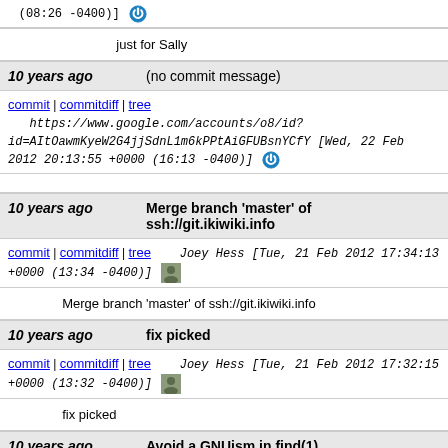(08:26 -0400)]
just for Sally
10 years ago   (no commit message)
commit | commitdiff | tree   https://www.google.com/accounts/o8/id?id=AItOawmKyeW2G4jjSdnL1m6kPPtAiGFUBsnYCfY [Wed, 22 Feb 2012 20:13:55 +0000 (16:13 -0400)]
10 years ago   Merge branch 'master' of ssh://git.ikiwiki.info
commit | commitdiff | tree   Joey Hess [Tue, 21 Feb 2012 17:34:13 +0000 (13:34 -0400)]
Merge branch 'master' of ssh://git.ikiwiki.info
10 years ago   fix picked
commit | commitdiff | tree   Joey Hess [Tue, 21 Feb 2012 17:32:15 +0000 (13:32 -0400)]
fix picked
10 years ago   Avoid a GNUism in find(1).